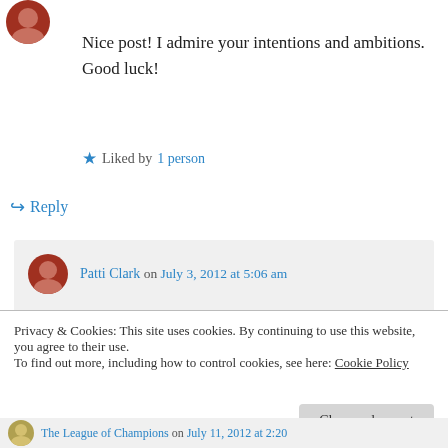Nice post! I admire your intentions and ambitions. Good luck!
★ Liked by 1 person
↪ Reply
Patti Clark on July 3, 2012 at 5:06 am
Thank you George. I appreciate you taking the time to comment.
Privacy & Cookies: This site uses cookies. By continuing to use this website, you agree to their use.
To find out more, including how to control cookies, see here: Cookie Policy
Close and accept
The League of Champions on July 11, 2012 at 2:20